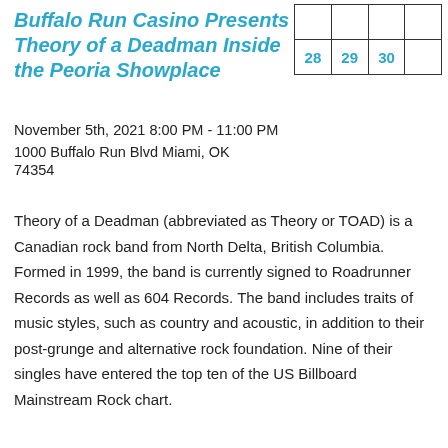Buffalo Run Casino Presents Theory of a Deadman Inside the Peoria Showplace
|  |  |  |  |
| 28 | 29 | 30 |  |
November 5th, 2021 8:00 PM - 11:00 PM
1000 Buffalo Run Blvd Miami, OK 74354
Theory of a Deadman (abbreviated as Theory or TOAD) is a Canadian rock band from North Delta, British Columbia. Formed in 1999, the band is currently signed to Roadrunner Records as well as 604 Records. The band includes traits of music styles, such as country and acoustic, in addition to their post-grunge and alternative rock foundation. Nine of their singles have entered the top ten of the US Billboard Mainstream Rock chart.